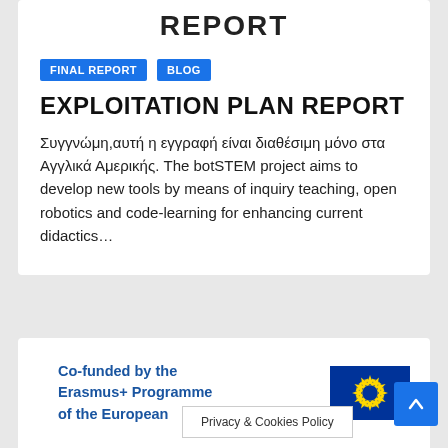REPORT
FINAL REPORT
BLOG
EXPLOITATION PLAN REPORT
Συγγνώμη,αυτή η εγγραφή είναι διαθέσιμη μόνο στα Αγγλικά Αμερικής. The botSTEM project aims to develop new tools by means of inquiry teaching, open robotics and code-learning for enhancing current didactics…
Co-funded by the Erasmus+ Programme of the European
Privacy & Cookies Policy